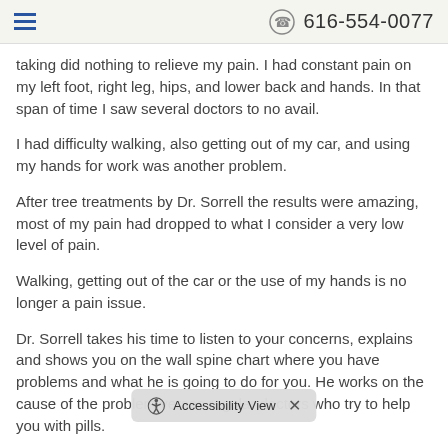616-554-0077
taking did nothing to relieve my pain.  I had constant pain on my left foot, right leg, hips, and lower back and hands.  In that span of time I saw several doctors to no avail.
I had difficulty walking, also getting out of my car, and using my hands for work was another problem.
After tree treatments by Dr. Sorrell the results were amazing, most of my pain had dropped to what I consider a very low level of pain.
Walking, getting out of the car or the use of my hands is no longer a pain issue.
Dr. Sorrell takes his time to listen to your concerns, explains and shows you on the wall spine chart where you have problems and what he is going to do for you.  He works on the cause of the problem verses regular doctors who try to help you with pills.
You will find that Dr. Sorrell                               erson